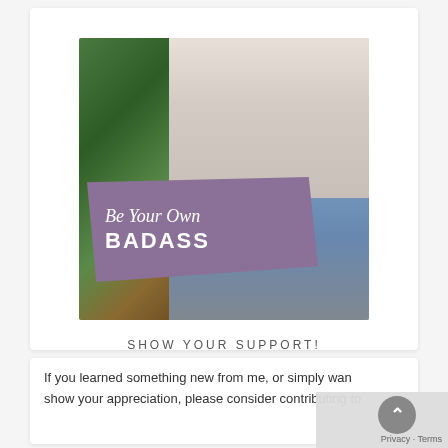[Figure (photo): Photo of a young woman with dark hair, smiling, wearing a denim jacket, standing near green bushes. Overlaid with a purple paint-stroke badge reading 'Be Your Own BADASS' in white text.]
SHOW YOUR SUPPORT!
If you learned something new from me, or simply want to show your appreciation, please consider contributing to